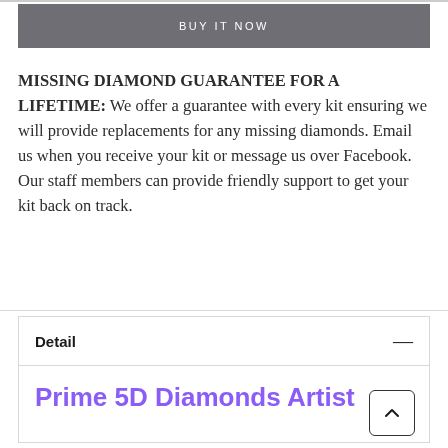[Figure (screenshot): Gray 'BUY IT NOW' button with white uppercase text]
MISSING DIAMOND GUARANTEE FOR A LIFETIME: We offer a guarantee with every kit ensuring we will provide replacements for any missing diamonds. Email us when you receive your kit or message us over Facebook. Our staff members can provide friendly support to get your kit back on track.
Detail
Prime 5D Diamonds Artist